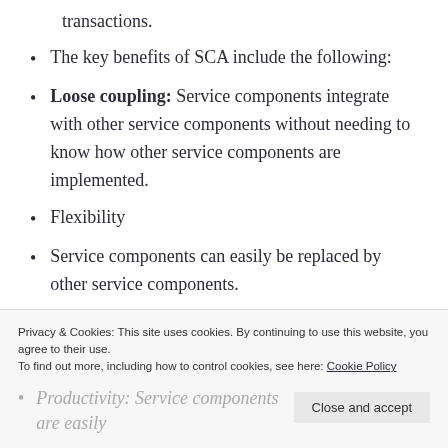transactions.
The key benefits of SCA include the following:
Loose coupling: Service components integrate with other service components without needing to know how other service components are implemented.
Flexibility
Service components can easily be replaced by other service components.
Privacy & Cookies: This site uses cookies. By continuing to use this website, you agree to their use. To find out more, including how to control cookies, see here: Cookie Policy
Productivity: Service components are easily